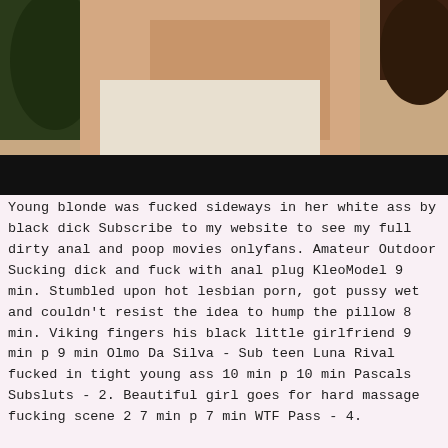[Figure (photo): A video thumbnail showing a partial view of a person, with a black bar at the bottom portion of the image.]
Young blonde was fucked sideways in her white ass by black dick Subscribe to my website to see my full dirty anal and poop movies onlyfans. Amateur Outdoor Sucking dick and fuck with anal plug KleoModel 9 min. Stumbled upon hot lesbian porn, got pussy wet and couldn't resist the idea to hump the pillow 8 min. Viking fingers his black little girlfriend 9 min p 9 min Olmo Da Silva - Sub teen Luna Rival fucked in tight young ass 10 min p 10 min Pascals Subsluts - 2. Beautiful girl goes for hard massage fucking scene 2 7 min p 7 min WTF Pass - 4.